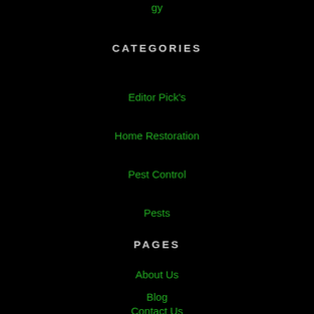gy
CATEGORIES
Editor Pick's
Home Restoration
Pest Control
Pests
PAGES
About Us
Blog
Contact Us